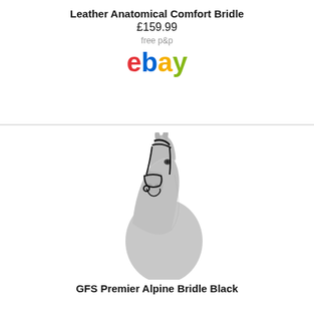Leather Anatomical Comfort Bridle
£159.99
free p&p
[Figure (logo): eBay logo in red, blue, yellow, and green lettering]
[Figure (photo): A grey horse wearing a black leather bridle, photographed from the front-left with a white background]
GFS Premier Alpine Bridle Black